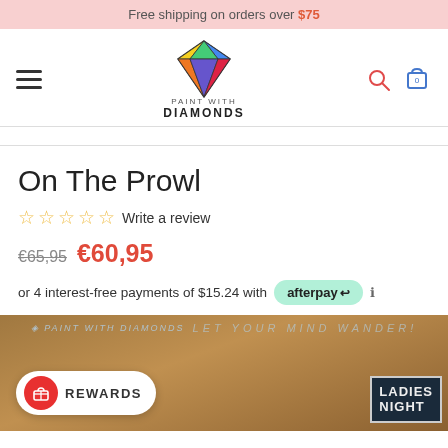Free shipping on orders over $75
[Figure (logo): Paint With Diamonds logo — colorful diamond gem above text 'PAINT WITH DIAMONDS']
On The Prowl
☆ ☆ ☆ ☆ ☆ Write a review
€65,95  €60,95
or 4 interest-free payments of $15.24 with afterpay
[Figure (photo): Product image showing 'On The Prowl' diamond painting with Ladies Night sign in background. Rewards button overlay at bottom left.]